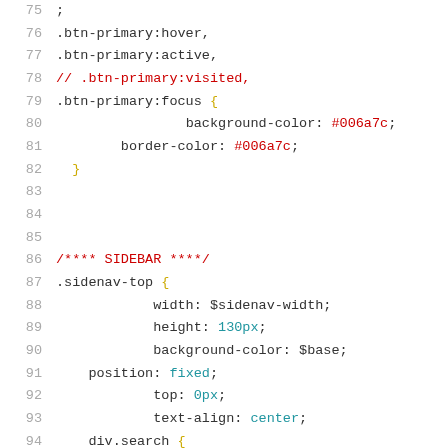[Figure (screenshot): Code editor screenshot showing CSS source code lines 75-96 with syntax highlighting. Line numbers in gray on the left, CSS selectors and properties in dark/black, values in teal/red, comments in red.]